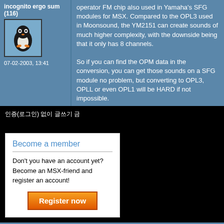incognito ergo sum (116)
07-02-2003, 13:41
operator FM chip also used in Yamaha's SFG modules for MSX. Compared to the OPL3 used in Moonsound, the YM2151 can create sounds of much higher complexity, with the downside being that it only has 8 channels.
So if you can find the OPM data in the conversion, you can get those sounds on a SFG module no problem, but converting to OPL3, OPLL or even OPL1 will be HARD if not impossible.
인증(로그인) 없이 글쓰기 금
Become a member
Don't you have an account yet? Become an MSX-friend and register an account!
Register now
© 1996-2022 Microcomputer & Related Culture Foundation. MSX is a trademark of MSX Licensing Corporation.
Privacy policy - Korean